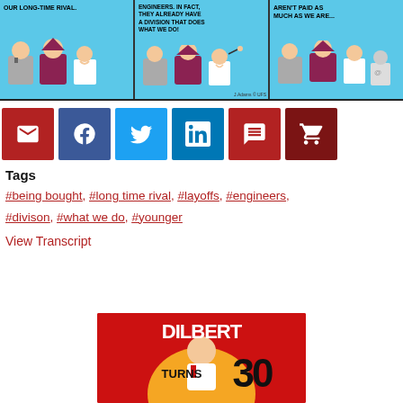[Figure (illustration): Dilbert comic strip with three panels on a blue background. Panel 1: text 'OUR LONG-TIME RIVAL.' with characters. Panel 2: text 'ENGINEERS. IN FACT, THEY ALREADY HAVE A DIVISION THAT DOES WHAT WE DO!' with characters. Panel 3: text 'AREN'T PAID AS MUCH AS WE ARE...' with characters. Copyright J.Adams/United Feature Syndicate.]
[Figure (infographic): Row of 6 social sharing buttons: email (dark red), Facebook (dark blue), Twitter (light blue), LinkedIn (blue), comment/speech bubble (dark red), shopping cart (dark red-brown).]
Tags
#being bought, #long time rival, #layoffs, #engineers, #divison, #what we do, #younger
View Transcript
[Figure (illustration): Book cover for 'Dilbert Turns 30' on a red background with Dilbert character and large bold text.]